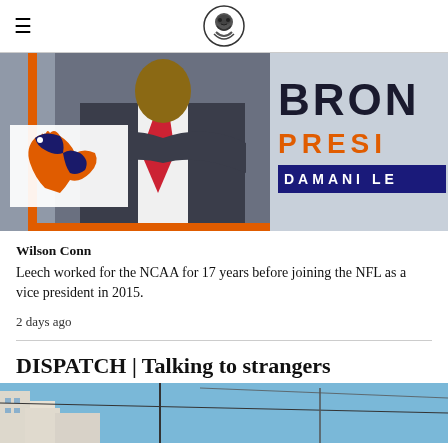[Figure (photo): News article hero image showing a man in a dark suit with red tie, arms crossed, with the Denver Broncos logo overlaid on white box at left. Right side shows text: BRON, PRESI, DAMANI LE on dark navy bar. Orange accent bars frame the image.]
Wilson Conn
Leech worked for the NCAA for 17 years before joining the NFL as a vice president in 2015.
2 days ago
DISPATCH | Talking to strangers
[Figure (photo): Bottom portion of a news article photo showing buildings and blue sky with power lines.]